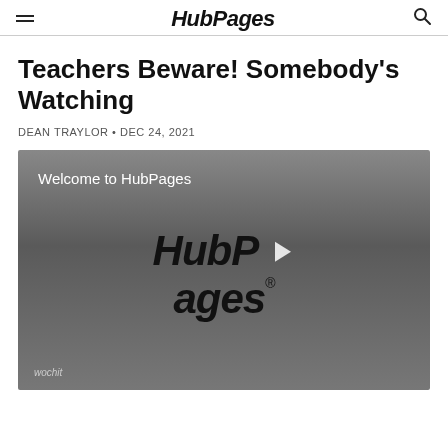HubPages
Teachers Beware! Somebody's Watching
DEAN TRAYLOR • DEC 24, 2021
[Figure (screenshot): Video player showing HubPages welcome screen with HubPages logo and play button. Wochit badge in bottom-left corner.]